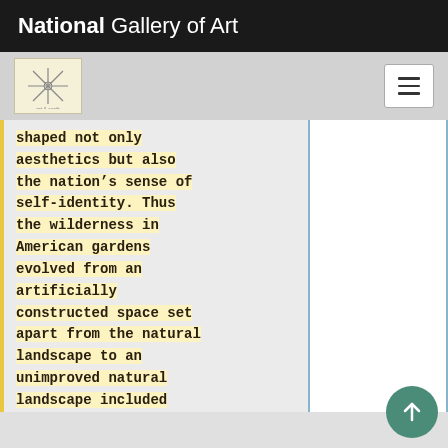National Gallery of Art
[Figure (logo): National Gallery of Art decorative logo mark, snowflake/star design on cream background]
shaped not only aesthetics but also the nation’s sense of self-identity. Thus the wilderness in American gardens evolved from an artificially constructed space set apart from the natural landscape to an unimproved natural landscape included within the conception of the garden.